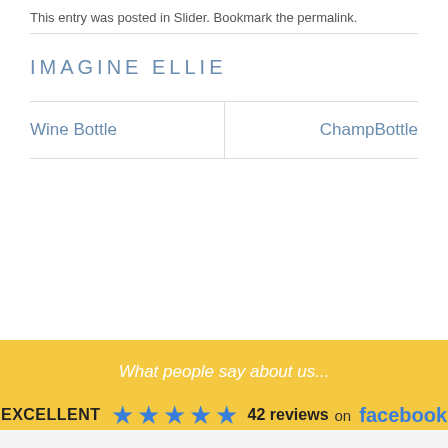This entry was posted in Slider. Bookmark the permalink.
IMAGINE ELLIE
Wine Bottle
ChampBottle
What people say about us...
EXCELLENT ★★★★★ 42 reviews on facebook